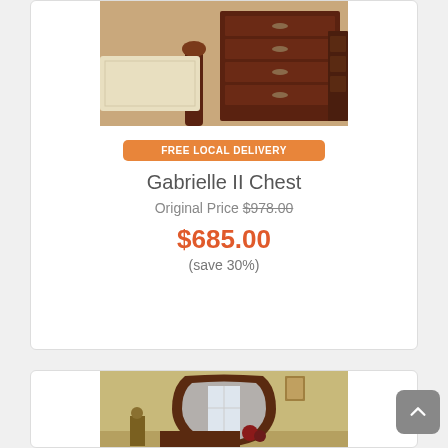[Figure (photo): Photo of Gabrielle II Chest — dark cherry wood bedroom chest with multiple drawers and ornate hardware, shown next to a bed with white bedding]
FREE LOCAL DELIVERY
Gabrielle II Chest
Original Price $978.00
$685.00
(save 30%)
[Figure (photo): Photo of a decorative mirror with dark cherry wood frame in an arched shape, shown in a bedroom setting with warm beige walls]